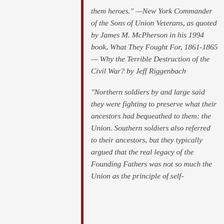them heroes." —New York Commander of the Sons of Union Veterans, as quoted by James M. McPherson in his 1994 book, What They Fought For, 1861-1865 — Why the Terrible Destruction of the Civil War? by Jeff Riggenbach
"Northern soldiers by and large said they were fighting to preserve what their ancestors had bequeathed to them: the Union. Southern soldiers also referred to their ancestors, but they typically argued that the real legacy of the Founding Fathers was not so much the Union as the principle of self-